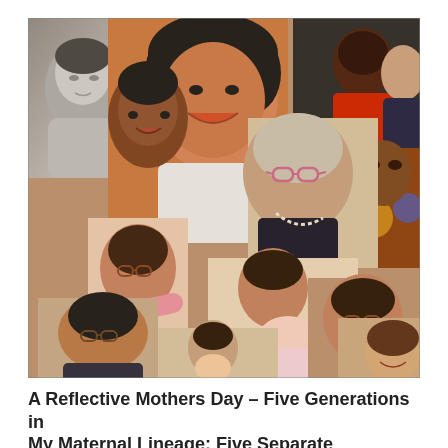[Figure (photo): A colorful photo collage featuring multiple women across five generations of a family. The collage includes both black-and-white and color photographs showing women of various ages — from elderly grandmothers to young children — in various poses and settings. The images have a painterly, stylized filter applied. Women are shown smiling, holding babies, posing together in family groups.]
A Reflective Mothers Day – Five Generations in My Maternal Lineage: Five Separate Continuing...